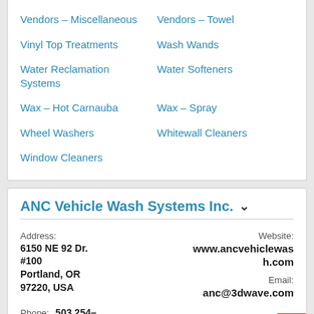Vendors – Miscellaneous
Vendors – Towel
Vinyl Top Treatments
Wash Wands
Water Reclamation Systems
Water Softeners
Wax – Hot Carnauba
Wax – Spray
Wheel Washers
Whitewall Cleaners
Window Cleaners
ANC Vehicle Wash Systems Inc.
Address: 6150 NE 92 Dr. #100 Portland, OR 97220, USA
Website: www.ancvehiclewash.com
Email: anc@3dwave.com
Phone: 503 254-9455